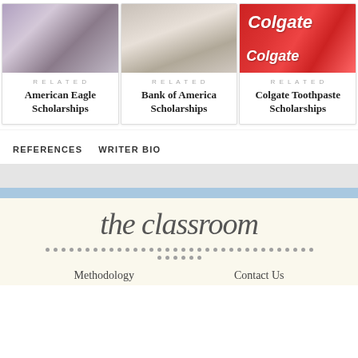[Figure (photo): Person browsing clothing on a rack, wearing glasses]
[Figure (photo): Person studying at a desk writing notes]
[Figure (photo): Colgate toothpaste boxes stacked]
RELATED
American Eagle Scholarships
RELATED
Bank of America Scholarships
RELATED
Colgate Toothpaste Scholarships
REFERENCES   WRITER BIO
[Figure (logo): the classroom script logo on cream background]
Methodology   Contact Us